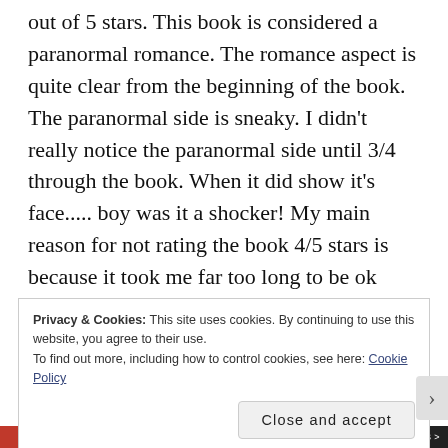out of 5 stars. This book is considered a paranormal romance. The romance aspect is quite clear from the beginning of the book. The paranormal side is sneaky. I didn't really notice the paranormal side until 3/4 through the book. When it did show it's face..... boy was it a shocker! My main reason for not rating the book 4/5 stars is because it took me far too long to be ok with the paranormal twist. The last quarter of the book flies past in a blur of investigation and confrontation. I will say that the ending is much neater and cleaner than I expected it to be. I was actually very happy with how the
Privacy & Cookies: This site uses cookies. By continuing to use this website, you agree to their use.
To find out more, including how to control cookies, see here: Cookie Policy
Close and accept